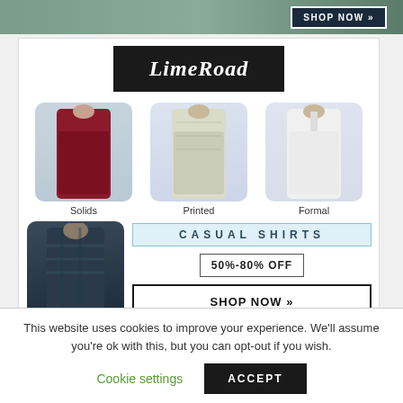[Figure (screenshot): Top banner with plaid shirt model and SHOP NOW button]
[Figure (screenshot): LimeRoad advertisement with casual shirts grid showing Solids, Printed, Formal, Checks categories with CASUAL SHIRTS 50%-80% OFF and SHOP NOW button]
Solids
Printed
Formal
CASUAL SHIRTS
50%-80% OFF
SHOP NOW »
Checks
[Figure (screenshot): KALKI brand strip with model]
This website uses cookies to improve your experience. We'll assume you're ok with this, but you can opt-out if you wish.
Cookie settings
ACCEPT